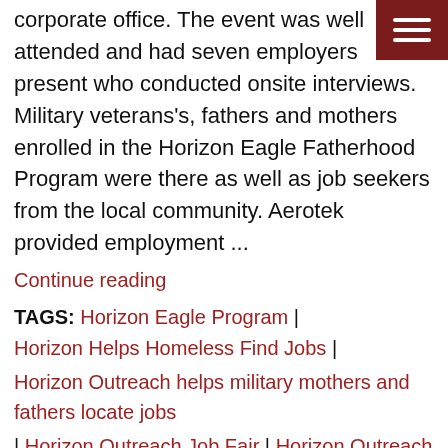corporate office. The event was well attended and had seven employers present who conducted onsite interviews. Military veterans's, fathers and mothers enrolled in the Horizon Eagle Fatherhood Program were there as well as job seekers from the local community. Aerotek provided employment ...
Continue reading
TAGS: Horizon Eagle Program | Horizon Helps Homeless Find Jobs | Horizon Outreach helps military mothers and fathers locate jobs | Horizon Outreach Job Fair | Horizon Outreach Jobs |